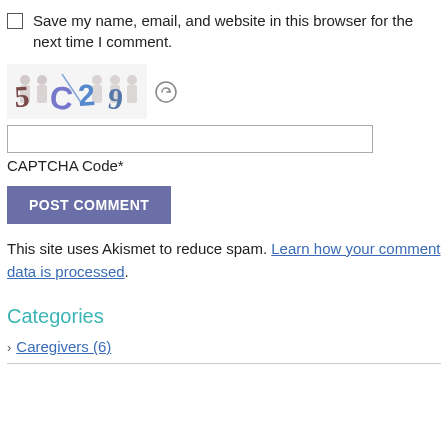Save my name, email, and website in this browser for the next time I comment.
[Figure (other): CAPTCHA image showing distorted characters '5 C2 9' with silhouette figures in background, and a refresh icon]
CAPTCHA Code*
POST COMMENT
This site uses Akismet to reduce spam. Learn how your comment data is processed.
Categories
Caregivers (6)